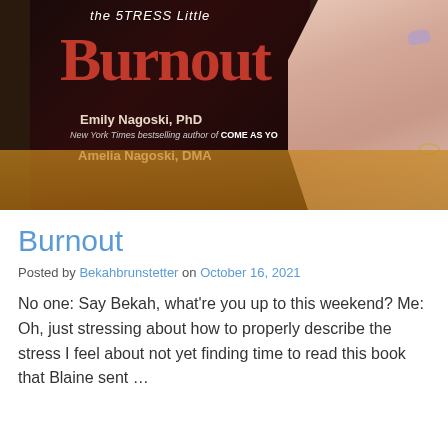[Figure (photo): A hand holding a book titled 'Burnout' by Emily Nagoski, PhD and Amelia Nagoski, DMA, against a wooden surface background. The book cover is dark/black with red lettering. The subtitle visible is 'The Stress Little'. The hand has purple-painted nails and a gold ring.]
Burnout
Posted by Bekahbrunstetter on October 16, 2021
No one: Say Bekah, what're you up to this weekend? Me: Oh, just stressing about how to properly describe the stress I feel about not yet finding time to read this book that Blaine sent …